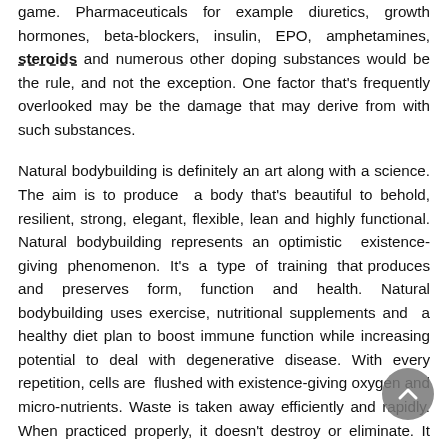game. Pharmaceuticals for example diuretics, growth hormones, beta-blockers, insulin, EPO, amphetamines, steroids and numerous other doping substances would be the rule, and not the exception. One factor that's frequently overlooked may be the damage that may derive from with such substances.
Natural bodybuilding is definitely an art along with a science. The aim is to produce a body that's beautiful to behold, resilient, strong, elegant, flexible, lean and highly functional. Natural bodybuilding represents an optimistic existence-giving phenomenon. It's a type of training that produces and preserves form, function and health. Natural bodybuilding uses exercise, nutritional supplements and a healthy diet plan to boost immune function while increasing potential to deal with degenerative disease. With every repetition, cells are flushed with existence-giving oxygen and micro-nutrients. Waste is taken away efficiently and rapidly. When practiced properly, it doesn't destroy or eliminate. It adds even more than symmetry and quality muscle, but provides you with benefits beyond what is visible using the human eye alone.
Natural bodybuilding represents the truest component of bodybuilding by requiring a clear lifestyle which promotes the achievement of optimum health. Optimum health provides for us the chance and insight to define our goals and also the motivation needed to attain them. Once truly well, we could adjust to change and stress without...